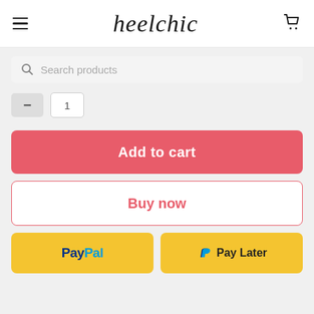heelchic
Search products
quantity selector with minus and input field showing 1
Add to cart
Buy now
[Figure (screenshot): PayPal payment button with PayPal logo]
[Figure (screenshot): PayPal Pay Later button with PayPal P logo and Pay Later text]